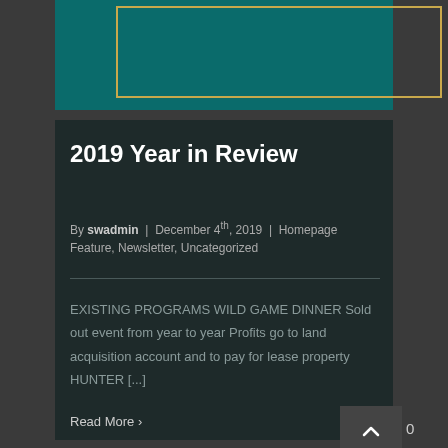[Figure (illustration): Teal/dark green banner image area with a gold/yellow rectangular border inset]
2019 Year in Review
By swadmin | December 4th, 2019 | Homepage Feature, Newsletter, Uncategorized
EXISTING PROGRAMS WILD GAME DINNER Sold out event from year to year Profits go to land acquisition account and to pay for lease property HUNTER [...]
Read More >
0